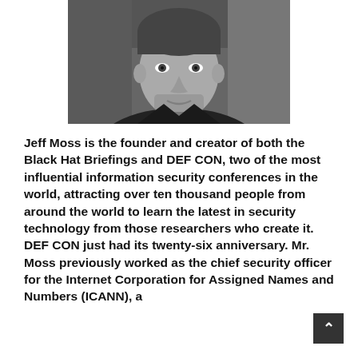[Figure (photo): Black and white portrait photo of Jeff Moss, a man with short hair and a beard, wearing a black jacket with a lanyard/badge. The photo is cropped to show his face and upper torso against a dark background.]
Jeff Moss is the founder and creator of both the Black Hat Briefings and DEF CON, two of the most influential information security conferences in the world, attracting over ten thousand people from around the world to learn the latest in security technology from those researchers who create it. DEF CON just had its twenty-six anniversary. Mr. Moss previously worked as the chief security officer for the Internet Corporation for Assigned Names and Numbers (ICANN), a